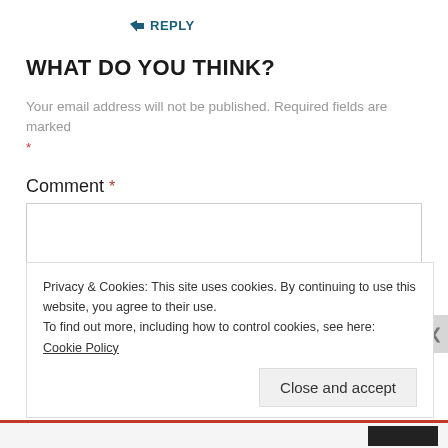↳ REPLY
WHAT DO YOU THINK?
Your email address will not be published. Required fields are marked *
Comment *
Privacy & Cookies: This site uses cookies. By continuing to use this website, you agree to their use.
To find out more, including how to control cookies, see here: Cookie Policy
Close and accept